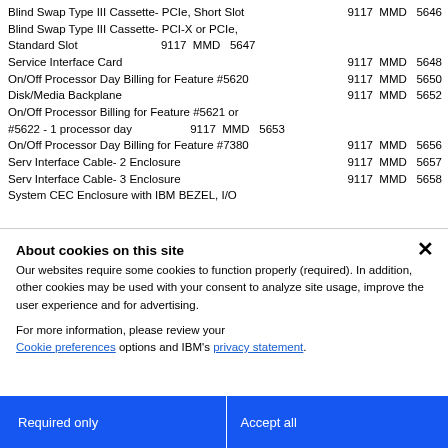Blind Swap Type III Cassette- PCIe, Short Slot  9117  MMD  5646
Blind Swap Type III Cassette- PCI-X or PCIe, Standard Slot  9117  MMD  5647
Service Interface Card  9117  MMD  5648
On/Off Processor Day Billing for Feature #5620  9117  MMD  5650
Disk/Media Backplane  9117  MMD  5652
On/Off Processor Billing for Feature #5621 or #5622 - 1 processor day  9117  MMD  5653
On/Off Processor Day Billing for Feature #7380  9117  MMD  5656
Serv Interface Cable- 2 Enclosure  9117  MMD  5657
Serv Interface Cable- 3 Enclosure  9117  MMD  5658
System CEC Enclosure with IBM BEZEL, I/O
About cookies on this site
Our websites require some cookies to function properly (required). In addition, other cookies may be used with your consent to analyze site usage, improve the user experience and for advertising.
For more information, please review your Cookie preferences options and IBM's privacy statement.